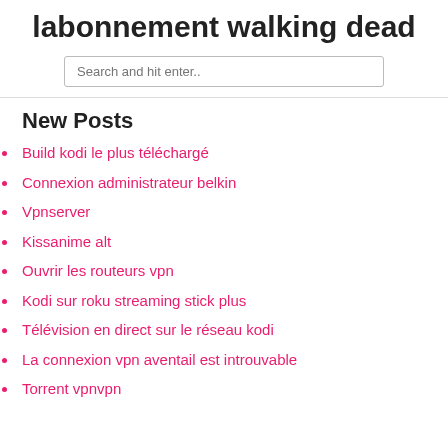labonnement walking dead
Search and hit enter..
New Posts
Build kodi le plus téléchargé
Connexion administrateur belkin
Vpnserver
Kissanime alt
Ouvrir les routeurs vpn
Kodi sur roku streaming stick plus
Télévision en direct sur le réseau kodi
La connexion vpn aventail est introuvable
Torrent vpnvpn